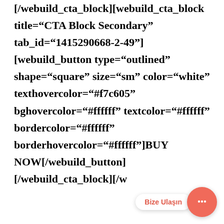[/webuild_cta_block][webuild_cta_block title="CTA Block Secondary" tab_id="1415290668-2-49"] [webuild_button type="outlined" shape="square" size="sm" color="white" texthovercolor="#f7c605" bghovercolor="#ffffff" textcolor="#ffffff" bordercolor="#ffffff" borderhovercolor="#ffffff"]BUY NOW[/webuild_button] [/webuild_cta_block][/w
[Figure (other): Chat widget with 'Bize Ulaşın' label and coral/red circular chat bubble icon with ellipsis]